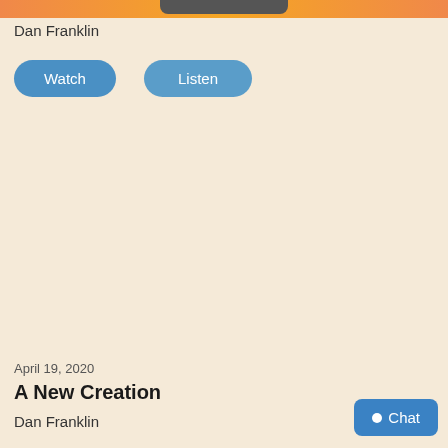Dan Franklin
Watch
Listen
April 19, 2020
A New Creation
Dan Franklin
Chat